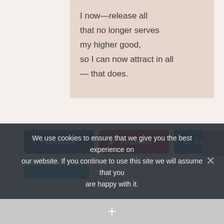I now—release all that no longer serves my higher good, so I can now attract in all — that does.
[Figure (other): Social sharing buttons: Facebook (dark blue), Pinterest (red), LinkedIn (blue), and a scroll-to-top button (gray)]
We use cookies to ensure that we give you the best experience on our website. If you continue to use this site we will assume that you are happy with it.